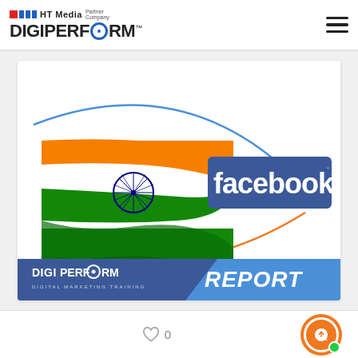HT Media Partner Company DIGIPERFORM™
[Figure (illustration): DigiPerform Facebook India Report cover image showing Indian flag with Facebook logo and curved lines, with DigiPerform branding at bottom and REPORT label]
♡ 0